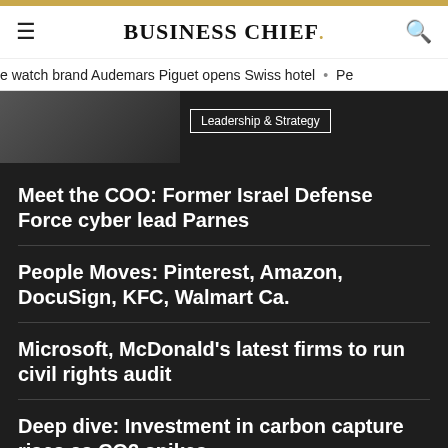BUSINESS CHIEF.
e watch brand Audemars Piguet opens Swiss hotel • Pe
[Figure (photo): Photo of a person at a desk/meeting table, partially visible]
Leadership & Strategy
Meet the COO: Former Israel Defense Force cyber lead Parnes
People Moves: Pinterest, Amazon, DocuSign, KFC, Walmart Ca.
Microsoft, McDonald's latest firms to run civil rights audit
Deep dive: Investment in carbon capture rises as CO2 spikes